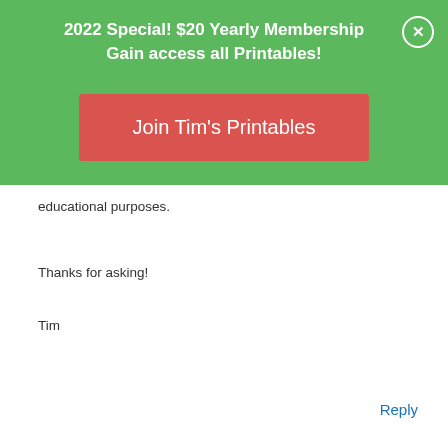2022 Special! $20 Yearly Membership
Gain access all Printables!
[Figure (other): Red button labeled 'Join Tim's Printables']
educational purposes.
Thanks for asking!
Tim
Reply